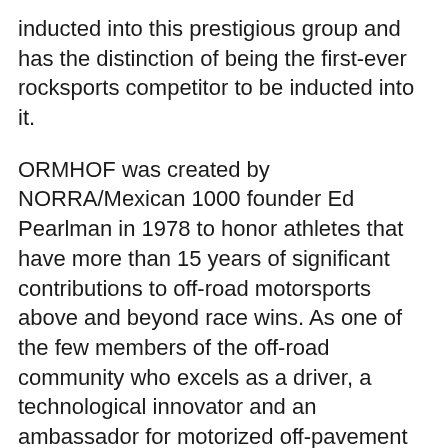inducted into this prestigious group and has the distinction of being the first-ever rocksports competitor to be inducted into it.
ORMHOF was created by NORRA/Mexican 1000 founder Ed Pearlman in 1978 to honor athletes that have more than 15 years of significant contributions to off-road motorsports above and beyond race wins. As one of the few members of the off-road community who excels as a driver, a technological innovator and an ambassador for motorized off-pavement recreation, Shannon Campbell was an obvious selection and received a unanimous vote from the selection committee.
“I was surprised and honored to be selected for ORMHOF,” Shannon Campbell said. “Until recently, most of the rock events were under the radar, compared to other forms of racing. This honor is a career highlight, one that I consider a shared win with all of the rock-racing organizations that